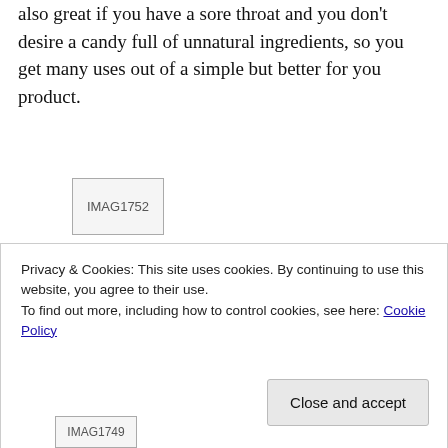also great if you have a sore throat and you don't desire a candy full of unnatural ingredients, so you get many uses out of a simple but better for you product.
[Figure (photo): Broken image placeholder labeled IMAG1752]
Privacy & Cookies: This site uses cookies. By continuing to use this website, you agree to their use.
To find out more, including how to control cookies, see here: Cookie Policy
[Figure (photo): Broken image placeholder labeled IMAG1749]